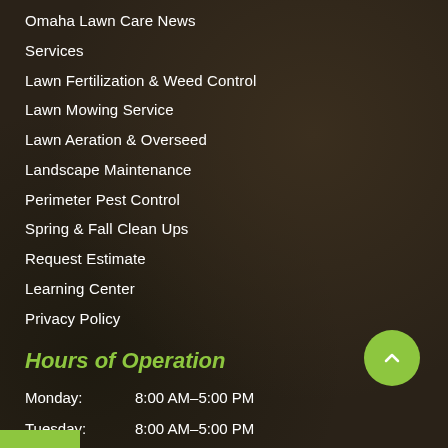Omaha Lawn Care News
Services
Lawn Fertilization & Weed Control
Lawn Mowing Service
Lawn Aeration & Overseed
Landscape Maintenance
Perimeter Pest Control
Spring & Fall Clean Ups
Request Estimate
Learning Center
Privacy Policy
Hours of Operation
Monday:    8:00 AM–5:00 PM
Tuesday:    8:00 AM–5:00 PM
Wednesday:  8:00 AM–5:00 PM
Thursday:    8:00 AM–5:00 PM